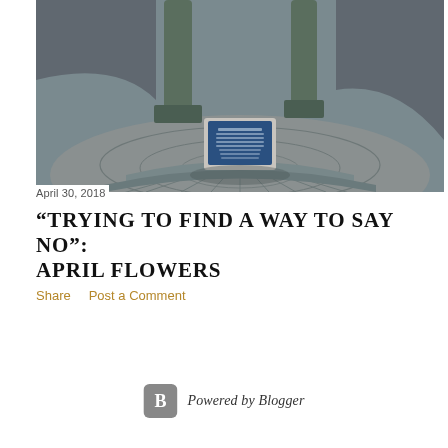[Figure (photo): Photograph of a circular stone memorial plaza with bronze statues/columns at the top and a blue commemorative plaque mounted on a white stone base in the center. The ground is grey stone pavers arranged in a semicircular fan pattern.]
April 30, 2018
“TRYING TO FIND A WAY TO SAY NO”: APRIL FLOWERS
Share    Post a Comment
Powered by Blogger